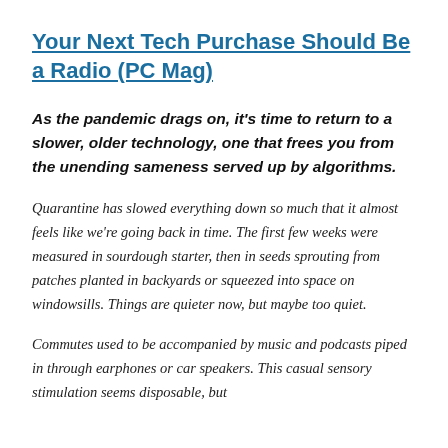Your Next Tech Purchase Should Be a Radio (PC Mag)
As the pandemic drags on, it’s time to return to a slower, older technology, one that frees you from the unending sameness served up by algorithms.
Quarantine has slowed everything down so much that it almost feels like we’re going back in time. The first few weeks were measured in sourdough starter, then in seeds sprouting from patches planted in backyards or squeezed into space on windowsills. Things are quieter now, but maybe too quiet.
Commutes used to be accompanied by music and podcasts piped in through earphones or car speakers. This casual sensory stimulation seems disposable, but